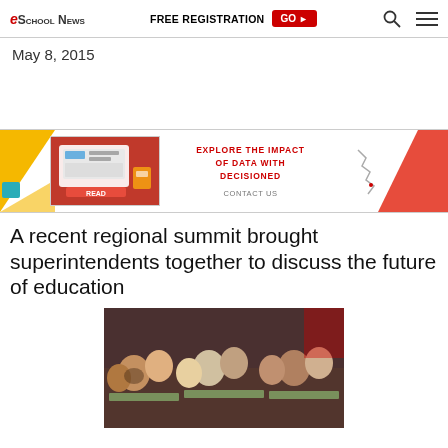eSchool News | FREE REGISTRATION GO
May 8, 2015
[Figure (other): Advertisement banner for Decisioned: EXPLORE THE IMPACT OF DATA WITH DECISIONED | CONTACT US]
A recent regional summit brought superintendents together to discuss the future of education
[Figure (photo): Photo of educators/superintendents seated at tables during a regional summit, engaged in discussion]